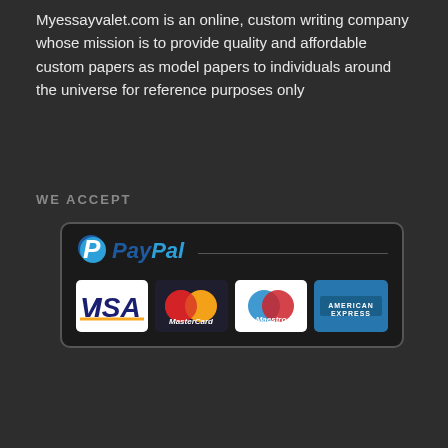Myessayvalet.com is an online, custom writing company whose mission is to provide quality and affordable custom papers as model papers to individuals around the universe for reference purposes only
WE ACCEPT
[Figure (logo): Payment methods box showing PayPal logo at top with VISA, MasterCard, Maestro, and American Express card logos below, all within a rounded dark border box]